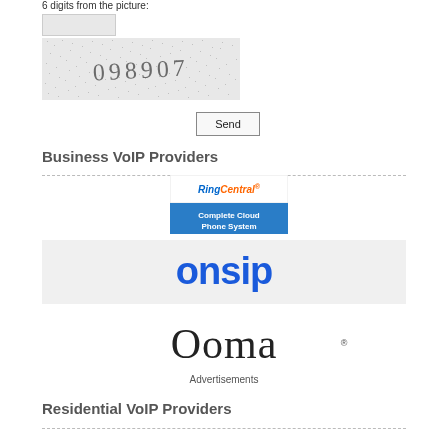6 digits from the picture:
[Figure (screenshot): A CAPTCHA image showing the text '098907' on a speckled/noisy background]
Send
Business VoIP Providers
[Figure (logo): RingCentral advertisement - Complete Cloud Phone System logo banner with blue and orange branding]
[Figure (logo): OnSIP logo in blue text on light gray background]
[Figure (logo): Ooma logo in dark text]
Advertisements
Residential VoIP Providers